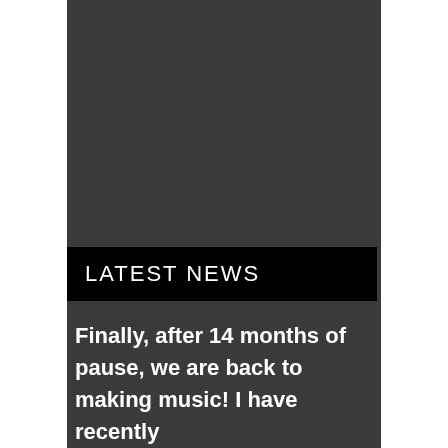[Figure (photo): Dark grey background panel occupying the central portion of the page]
LATEST NEWS
Finally, after 14 months of pause, we are back to making music!  I have recently